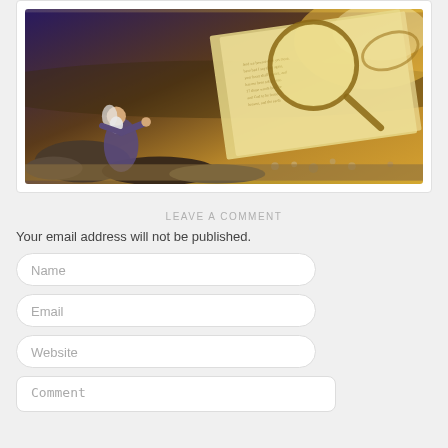[Figure (illustration): Biblical illustration showing an elderly bearded man kneeling on rocks near the sea, with a large open Bible page and magnifying glasses in the background, golden light, dramatic sky.]
LEAVE A COMMENT
Your email address will not be published.
Name
Email
Website
Comment